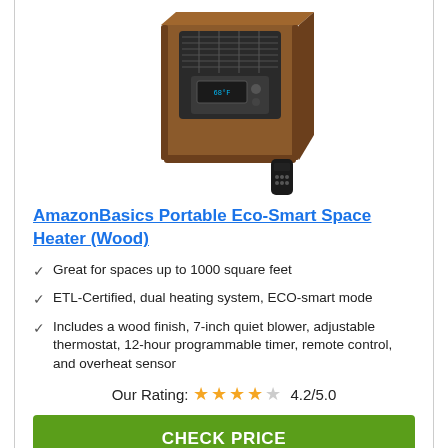[Figure (photo): AmazonBasics Portable Eco-Smart Space Heater (Wood) product image - a wood-finish cube heater with front vents, digital display, and a remote control beside it]
AmazonBasics Portable Eco-Smart Space Heater (Wood)
Great for spaces up to 1000 square feet
ETL-Certified, dual heating system, ECO-smart mode
Includes a wood finish, 7-inch quiet blower, adjustable thermostat, 12-hour programmable timer, remote control, and overheat sensor
Our Rating: 4.2/5.0
CHECK PRICE